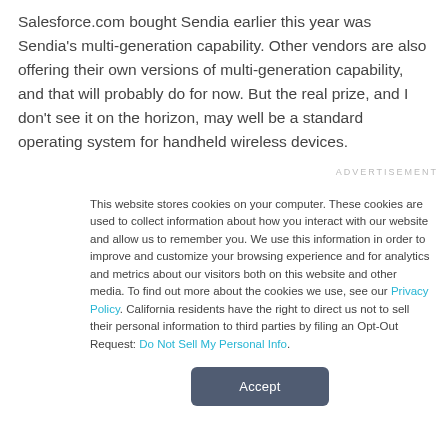Salesforce.com bought Sendia earlier this year was Sendia's multi-generation capability. Other vendors are also offering their own versions of multi-generation capability, and that will probably do for now. But the real prize, and I don't see it on the horizon, may well be a standard operating system for handheld wireless devices.
ADVERTISEMENT
This website stores cookies on your computer. These cookies are used to collect information about how you interact with our website and allow us to remember you. We use this information in order to improve and customize your browsing experience and for analytics and metrics about our visitors both on this website and other media. To find out more about the cookies we use, see our Privacy Policy. California residents have the right to direct us not to sell their personal information to third parties by filing an Opt-Out Request: Do Not Sell My Personal Info.